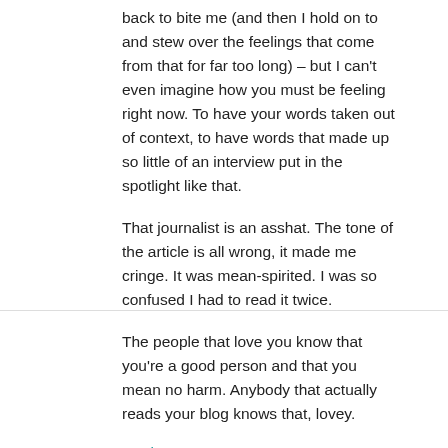back to bite me (and then I hold on to and stew over the feelings that come from that for far too long) – but I can't even imagine how you must be feeling right now. To have your words taken out of context, to have words that made up so little of an interview put in the spotlight like that.
That journalist is an asshat. The tone of the article is all wrong, it made me cringe. It was mean-spirited. I was so confused I had to read it twice.
The people that love you know that you're a good person and that you mean no harm. Anybody that actually reads your blog knows that, lovey.
Reply
Lizeylou says
April 16, 2012 at 12:38 am